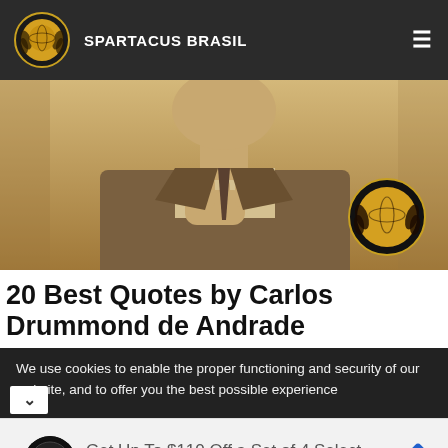SPARTACUS BRASIL
[Figure (photo): Sepia-toned photograph of a man in a suit resting his chin on his hand in a thinking pose, with a Spartacus Brasil gold laurel badge overlaid at the bottom right]
20 Best Quotes by Carlos Drummond de Andrade
We use cookies to enable the proper functioning and security of our website, and to offer you the best possible experience
Get Up To $110 Off a Set of 4 Select Firestone Tires